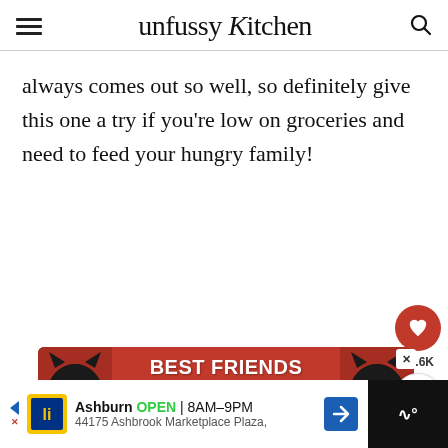unfussy Kitchen
always comes out so well, so definitely give this one a try if you're low on groceries and need to feed your hungry family!
[Figure (other): Advertisement banner with two cats (black and white) on a red/pink background with text BEST FRIENDS FOREVER and heart symbols]
10.6K
WHAT'S NEXT → Easy Instant Pot Chili
[Figure (other): Bottom advertisement bar: Lidl store. Ashburn OPEN 8AM–9PM, 44175 Ashbrook Marketplace Plaza,]